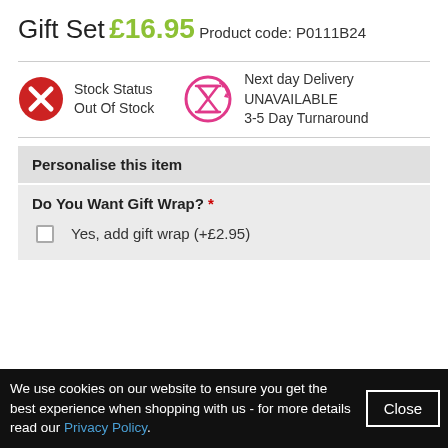Gift Set
£16.95
Product code: P0111B24
Stock Status Out Of Stock | Next day Delivery UNAVAILABLE 3-5 Day Turnaround
Personalise this item
Do You Want Gift Wrap? *
Yes, add gift wrap (+£2.95)
We use cookies on our website to ensure you get the best experience when shopping with us - for more details read our Privacy Policy.